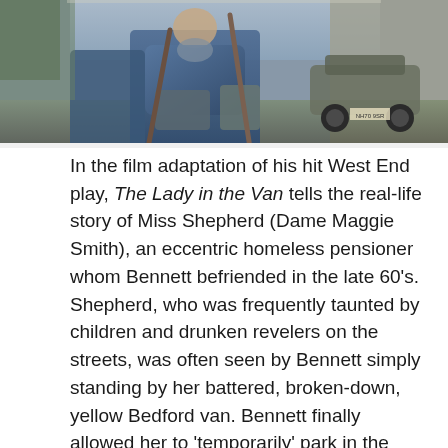[Figure (photo): Photo of a person (presumably Miss Shepherd character) sitting outdoors near a van on a street, wearing blue clothing, with crutches and bags visible. A car is visible in the background.]
In the film adaptation of his hit West End play, The Lady in the Van tells the real-life story of Miss Shepherd (Dame Maggie Smith), an eccentric homeless pensioner whom Bennett befriended in the late 60's. Shepherd, who was frequently taunted by children and drunken revelers on the streets, was often seen by Bennett simply standing by her battered, broken-down, yellow Bedford van. Bennett finally allowed her to 'temporarily' park in the driveway of his Camden Town home where she lived for 15 years during the 70s and 80s.
After Shepherd's death in 1989, the playwright discovered that she was once a talented pianist, having spent time in a convent, and had, ultimately, succumbed to mental illness. Despite his generosity,